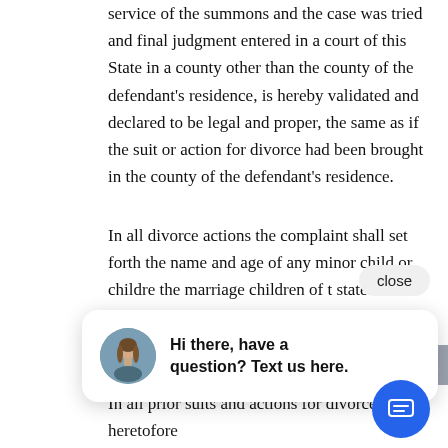service of the summons and the case was tried and final judgment entered in a court of this State in a county other than the county of the defendant's residence, is hereby validated and declared to be legal and proper, the same as if the suit or action for divorce had been brought in the county of the defendant's residence.
In all divorce actions the complaint shall set forth the name and age of any minor child or children of the marriage and shall state whether there are children of the marriage who are minors of this state. In addition, the complaint shall contain the marriage date and shall contain the social security number of the plaintiff and, if known, the social security number of the defendant.
In all prior suits and actions for divorce heretofore
[Figure (other): Chat widget overlay with close button, avatar photo of a woman, and text 'Hi there, have a question? Text us here.' Also a blue circular chat button at bottom right and a gray scroll-up arrow button on the right edge.]